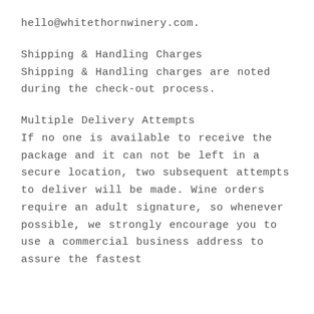hello@whitethornwinery.com.
Shipping & Handling Charges
Shipping & Handling charges are noted during the check-out process.
Multiple Delivery Attempts
If no one is available to receive the package and it can not be left in a secure location, two subsequent attempts to deliver will be made. Wine orders require an adult signature, so whenever possible, we strongly encourage you to use a commercial business address to assure the fastest